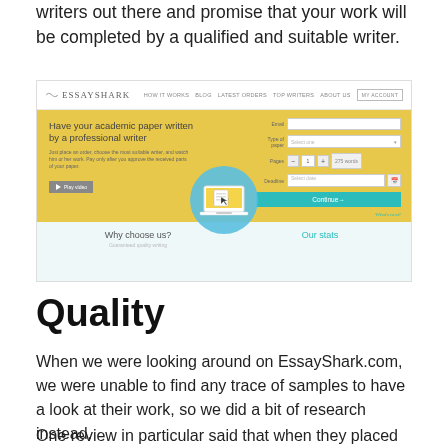writers out there and promise that your work will be completed by a qualified and suitable writer.
[Figure (screenshot): Screenshot of EssayShark.com website showing the navigation bar, a hero section with a form to order academic writing, and a bottom section with 'Why choose us?' and 'Our stats' panels.]
Quality
When we were looking around on EssayShark.com, we were unable to find any trace of samples to have a look at their work, so we did a bit of research instead.
One review in particular said that when they placed an